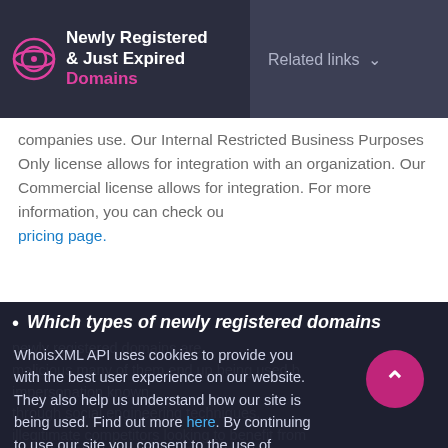Newly Registered & Just Expired Domains | Related links
companies use. Our Internal Restricted Business Purposes Only license allows for integration with an organization. Our Commercial license allows for integration. For more information, you can check our pricing page.
Which types of newly registered domains
newly registered domains are ... malicious many of them end up being used by ... impersonation known ... through social engineering techniques, illegitimate competitors looking to benefit from
WhoisXML API uses cookies to provide you with the best user experience on our website. They also help us understand how our site is being used. Find out more here. By continuing to use our site you consent to the use of cookies.